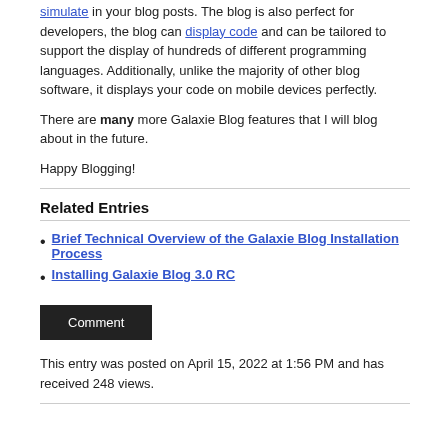simulate in your blog posts. The blog is also perfect for developers, the blog can display code and can be tailored to support the display of hundreds of different programming languages. Additionally, unlike the majority of other blog software, it displays your code on mobile devices perfectly.
There are many more Galaxie Blog features that I will blog about in the future.
Happy Blogging!
Related Entries
Brief Technical Overview of the Galaxie Blog Installation Process
Installing Galaxie Blog 3.0 RC
Comment
This entry was posted on April 15, 2022 at 1:56 PM and has received 248 views.